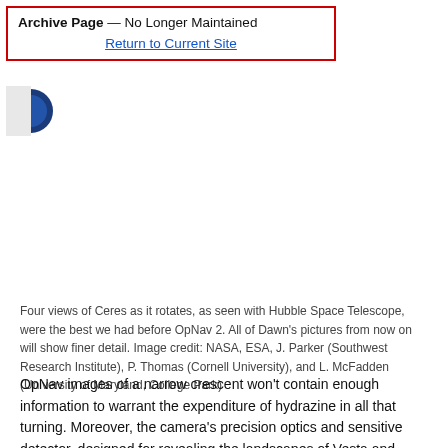Archive Page — No Longer Maintained
Return to Current Site
[Figure (logo): Partial circular logo (blue/dark) visible in top-left area below the archive notice box]
Four views of Ceres as it rotates, as seen with Hubble Space Telescope, were the best we had before OpNav 2. All of Dawn's pictures from now on will show finer detail. Image credit: NASA, ESA, J. Parker (Southwest Research Institute), P. Thomas (Cornell University), and L. McFadden (University of Maryland, College Park)
OpNav images of a narrow crescent won't contain enough information to warrant the expenditure of hydrazine in all that turning. Moreover, the camera's precision optics and sensitive detector, designed for revealing the landscapes of Vesta and Ceres, cannot tolerate looking too close to the sun, even so